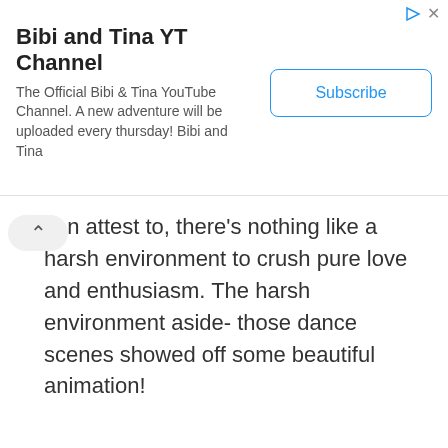Bibi and Tina YT Channel
The Official Bibi & Tina YouTube Channel. A new adventure will be uploaded every thursday! Bibi and Tina
can attest to, there's nothing like a harsh environment to crush pure love and enthusiasm. The harsh environment aside- those dance scenes showed off some beautiful animation!